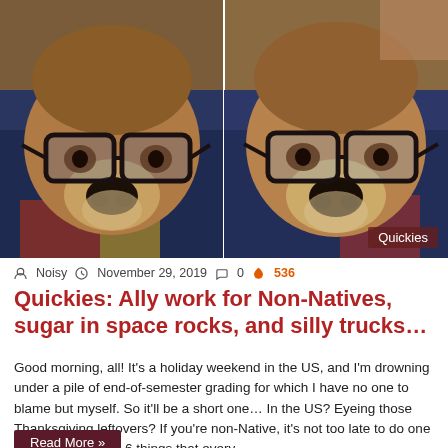[Figure (photo): Two side-by-side photos of a tan/brown dog wearing black-rimmed glasses, resting its chin on dark blue fabric. A red 'Quickies' badge appears in the lower right corner of the image.]
Noisy  November 29, 2019  0  536
Quickies: Ally work for Non-Natives, sugar in space rocks, and silly trucks…
Good morning, all! It's a holiday weekend in the US, and I'm drowning under a pile of end-of-semester grading for which I have no one to blame but myself. So it'll be a short one… In the US? Eyeing those Thanksgiving leftovers? If you're non-Native, it's not too late to do one (or more) of these 6 things that every…
Read More »